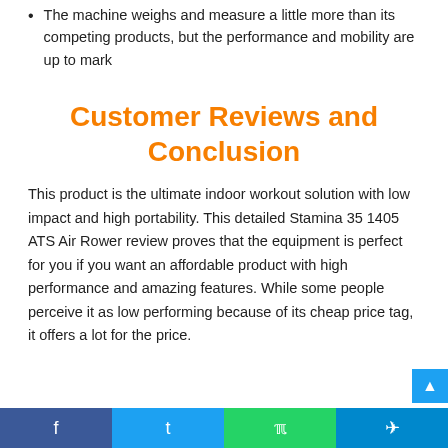The machine weighs and measure a little more than its competing products, but the performance and mobility are up to mark
Customer Reviews and Conclusion
This product is the ultimate indoor workout solution with low impact and high portability. This detailed Stamina 35 1405 ATS Air Rower review proves that the equipment is perfect for you if you want an affordable product with high performance and amazing features. While some people perceive it as low performing because of its cheap price tag, it offers a lot for the price.